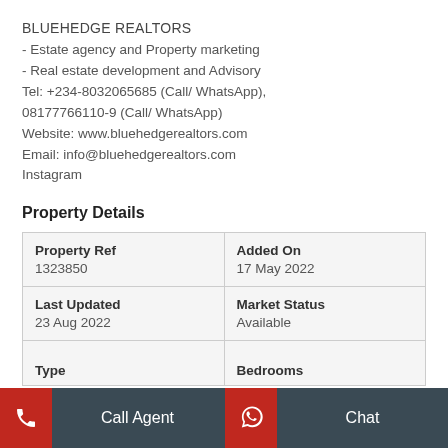BLUEHEDGE REALTORS
- Estate agency and Property marketing
- Real estate development and Advisory
Tel: +234-8032065685 (Call/ WhatsApp), 08177766110-9 (Call/ WhatsApp)
Website: www.bluehedgerealtors.com
Email: info@bluehedgerealtors.com
Instagram
Property Details
| Property Ref | Added On | Last Updated | Market Status | Type | Bedrooms |
| --- | --- | --- | --- | --- | --- |
| 1323850 | 17 May 2022 |
| 23 Aug 2022 | Available |
| Type (partial) | Bedrooms (partial) |